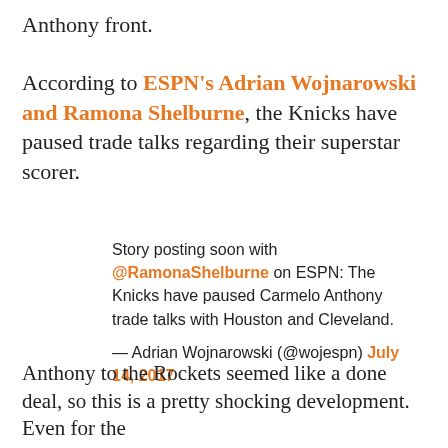Anthony front.
According to ESPN's Adrian Wojnarowski and Ramona Shelburne, the Knicks have paused trade talks regarding their superstar scorer.
Story posting soon with @RamonaShelburne on ESPN: The Knicks have paused Carmelo Anthony trade talks with Houston and Cleveland.
— Adrian Wojnarowski (@wojespn) July 14, 2017
Per ESPN, the Knicks even want to try and convince him to come back. That seems like a tall order after everything that happened under Phil Jackson.
Anthony to the Rockets seemed like a done deal, so this is a pretty shocking development. Even for the